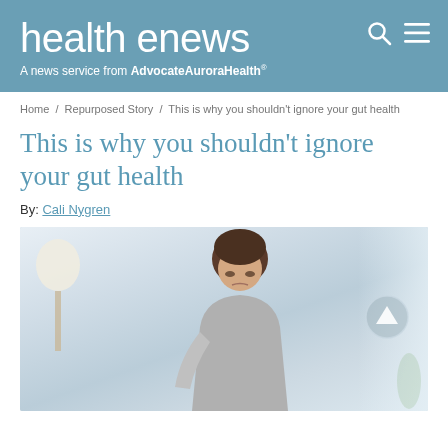health enews — A news service from AdvocateAuroraHealth
Home / Repurposed Story / This is why you shouldn't ignore your gut health
This is why you shouldn't ignore your gut health
By: Cali Nygren
[Figure (photo): A woman with short dark hair, wearing a grey sweater, hunched over in apparent stomach pain or discomfort, in a bright living room setting with a lamp and windows visible in the background.]